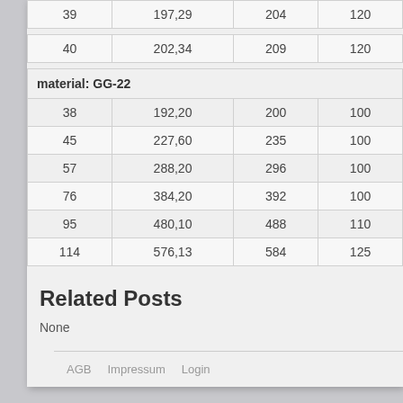|  |  |  |  |
| --- | --- | --- | --- |
| 39 | 197,29 | 204 | 120 |
|  |  |  |  |
| 40 | 202,34 | 209 | 120 |
|  |  |  |  |
| material: GG-22 |  |  |  |
| 38 | 192,20 | 200 | 100 |
| 45 | 227,60 | 235 | 100 |
| 57 | 288,20 | 296 | 100 |
| 76 | 384,20 | 392 | 100 |
| 95 | 480,10 | 488 | 110 |
| 114 | 576,13 | 584 | 125 |
Related Posts
None
AGB   Impressum   Login